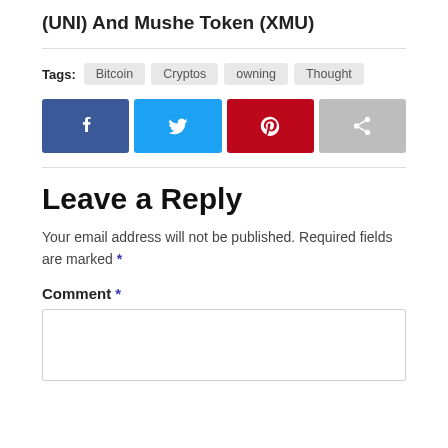(UNI) And Mushe Token (XMU)
Tags: Bitcoin  Cryptos  owning  Thought
[Figure (infographic): Four social share buttons: Facebook (dark blue with f icon), Twitter (light blue with bird icon), Pinterest (red with P icon), Share (gray with arrow icon)]
Leave a Reply
Your email address will not be published. Required fields are marked *
Comment *